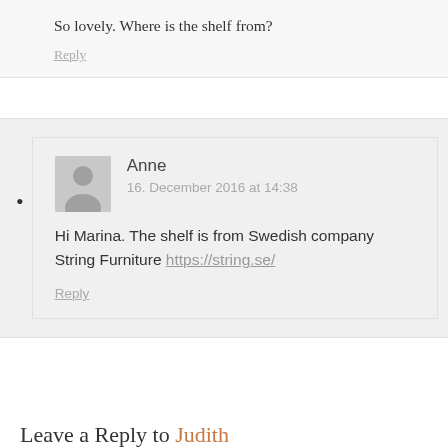So lovely. Where is the shelf from?
Reply
Anne
16. December 2016 at 14:38
Hi Marina. The shelf is from Swedish company String Furniture https://string.se/
Reply
Leave a Reply to Judith